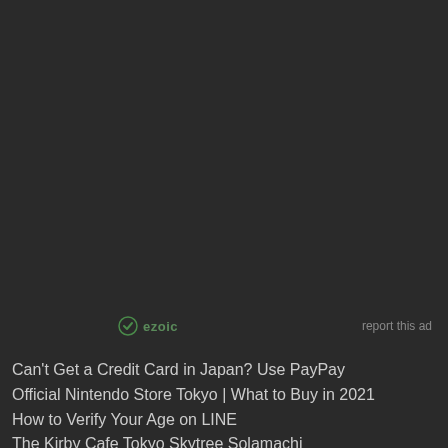[Figure (other): Dark background advertisement area (ezoic ad unit), mostly empty dark space]
ezoic   report this ad
Can't Get a Credit Card in Japan? Use PayPay
Official Nintendo Store Tokyo | What to Buy in 2021
How to Verify Your Age on LINE
The Kirby Cafe Tokyo Skytree Solamachi